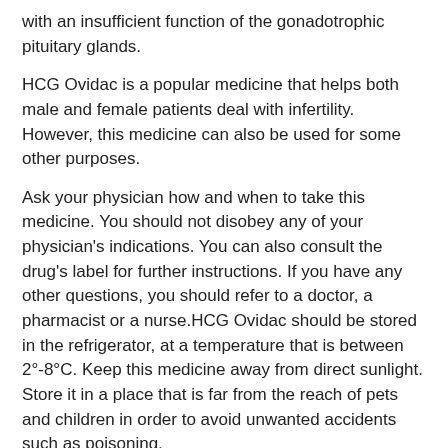with an insufficient function of the gonadotrophic pituitary glands.
HCG Ovidac is a popular medicine that helps both male and female patients deal with infertility. However, this medicine can also be used for some other purposes.
Ask your physician how and when to take this medicine. You should not disobey any of your physician's indications. You can also consult the drug's label for further instructions. If you have any other questions, you should refer to a doctor, a pharmacist or a nurse.HCG Ovidac should be stored in the refrigerator, at a temperature that is between 2°-8°C. Keep this medicine away from direct sunlight. Store it in a place that is far from the reach of pets and children in order to avoid unwanted accidents such as poisoning.
Dosage in the case of female patients: they should be administered one injection of 5 000-10 000 I.U. of this medicine. Dosage in the case of male patients: they should be administered an injection of 1000-2000 I.U. of medicine, from 2 to 3 times each week. It is best that each dose of HCG Ovidac should be administered by an